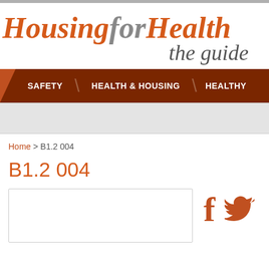HousingforHealth the guide
SAFETY | HEALTH & HOUSING | HEALTHY
Home > B1.2 004
B1.2 004
[Figure (screenshot): Empty content box with Facebook and Twitter share icons to the right]